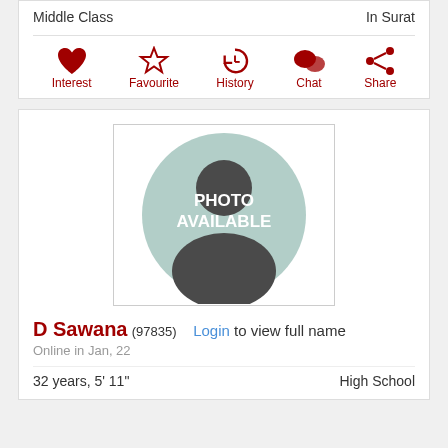Middle Class
In Surat
[Figure (infographic): Action icons: Interest (heart), Favourite (star), History (clock), Chat (speech bubble), Share]
[Figure (photo): Profile placeholder photo with silhouette and text PHOTO AVAILABLE]
D Sawana (97835) Login to view full name
Online in Jan, 22
32 years, 5' 11"  High School